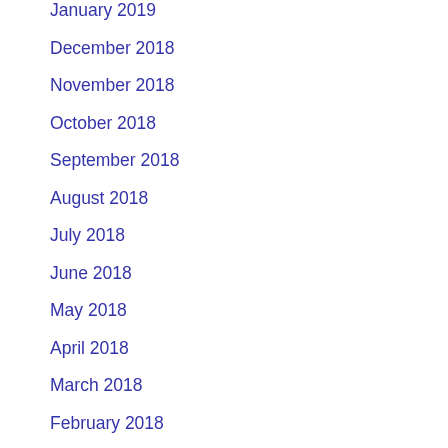January 2019
December 2018
November 2018
October 2018
September 2018
August 2018
July 2018
June 2018
May 2018
April 2018
March 2018
February 2018
January 2018
December 2017
November 2017
October 2017
September 2017
August 2017